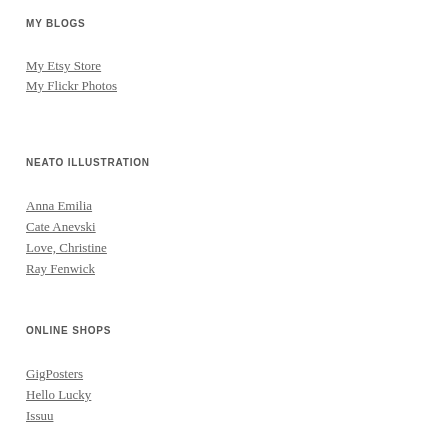MY BLOGS
My Etsy Store
My Flickr Photos
NEATO ILLUSTRATION
Anna Emilia
Cate Anevski
Love, Christine
Ray Fenwick
ONLINE SHOPS
GigPosters
Hello Lucky
Issuu